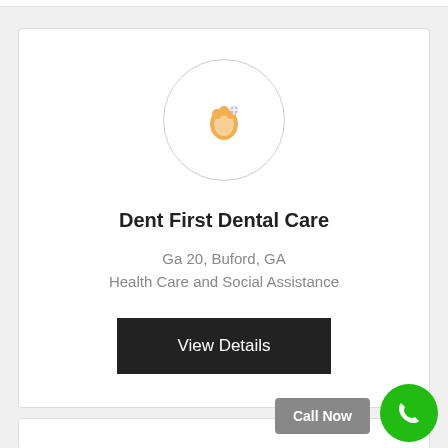[Figure (logo): Circular logo with a tooth/dental icon in gold/orange color on white background]
Dent First Dental Care
Ga 20, Buford, GA
Health Care and Social Assistance
View Details